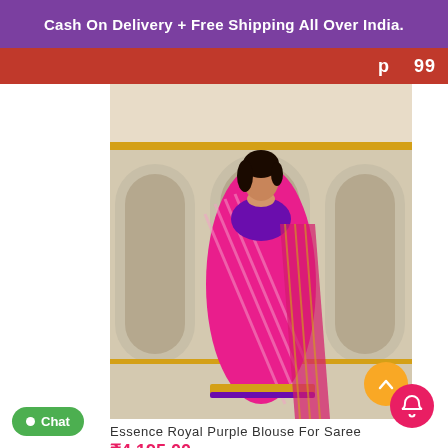Cash On Delivery + Free Shipping All Over India.
[Figure (photo): A woman in a pink/hot-pink saree with a royal purple embroidered blouse, standing in front of an ornate architectural background with arched windows and gold details.]
Essence Royal Purple Blouse For Saree
₹4,195.00